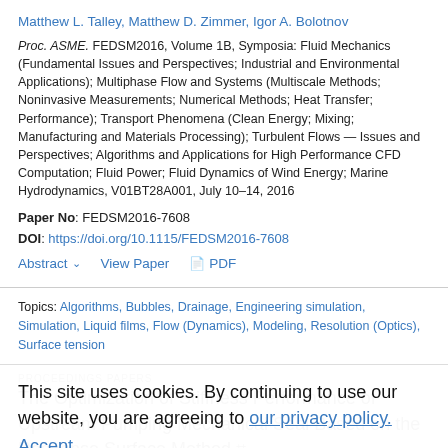Matthew L. Talley, Matthew D. Zimmer, Igor A. Bolotnov
Proc. ASME. FEDSM2016, Volume 1B, Symposia: Fluid Mechanics (Fundamental Issues and Perspectives; Industrial and Environmental Applications); Multiphase Flow and Systems (Multiscale Methods; Noninvasive Measurements; Numerical Methods; Heat Transfer; Performance); Transport Phenomena (Clean Energy; Mixing; Manufacturing and Materials Processing); Turbulent Flows — Issues and Perspectives; Algorithms and Applications for High Performance CFD Computation; Fluid Power; Fluid Dynamics of Wind Energy; Marine Hydrodynamics, V01BT28A001, July 10–14, 2016
Paper No: FEDSM2016-7608
DOI: https://doi.org/10.1115/FEDSM2016-7608
Abstract  View Paper  PDF
Topics: Algorithms, Bubbles, Drainage, Engineering simulation, Simulation, Liquid films, Flow (Dynamics), Modeling, Resolution (Optics), Surface tension
This site uses cookies. By continuing to use our website, you are agreeing to our privacy policy. Accept